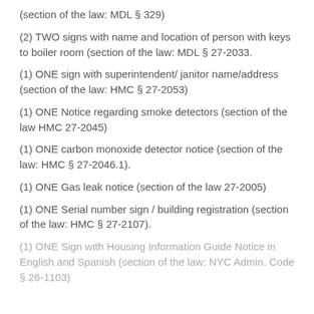(section of the law: MDL § 329)
(2) TWO signs with name and location of person with keys to boiler room (section of the law: MDL § 27-2033.
(1) ONE sign with superintendent/ janitor name/address (section of the law: HMC § 27-2053)
(1) ONE Notice regarding smoke detectors (section of the law HMC 27-2045)
(1) ONE carbon monoxide detector notice (section of the law: HMC § 27-2046.1).
(1) ONE Gas leak notice (section of the law 27-2005)
(1) ONE Serial number sign / building registration (section of the law: HMC § 27-2107).
(1) ONE Sign with Housing Information Guide Notice in English and Spanish (section of the law: NYC Admin. Code § 26-1103)